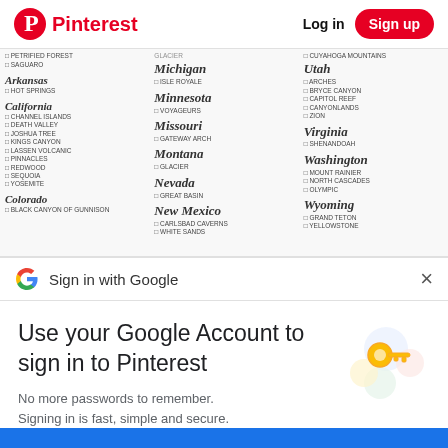Pinterest — Log in | Sign up
[Figure (screenshot): Blurred Pinterest page showing a checklist of US National Parks organized by state (Arkansas, California, Colorado, Michigan, Minnesota, Missouri, Montana, Nevada, New Mexico, Utah, Virginia, Washington, Wyoming)]
Sign in with Google
Use your Google Account to sign in to Pinterest
No more passwords to remember. Signing in is fast, simple and secure.